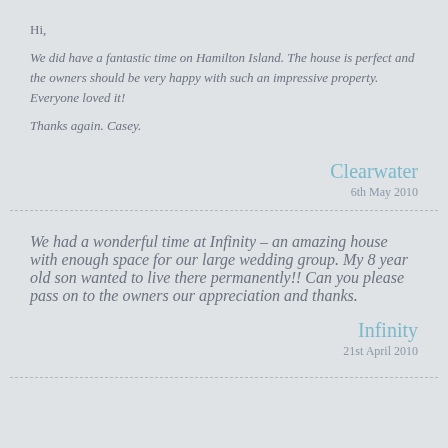Hi,
We did have a fantastic time on Hamilton Island. The house is perfect and the owners should be very happy with such an impressive property. Everyone loved it!
Thanks again. Casey.
Clearwater
6th May 2010
We had a wonderful time at Infinity – an amazing house with enough space for our large wedding group. My 8 year old son wanted to live there permanently!! Can you please pass on to the owners our appreciation and thanks.
Infinity
21st April 2010